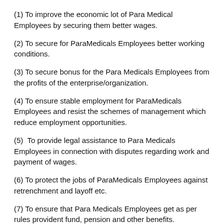(1) To improve the economic lot of Para Medical Employees by securing them better wages.
(2) To secure for ParaMedicals Employees better working conditions.
(3) To secure bonus for the Para Medicals Employees from the profits of the enterprise/organization.
(4) To ensure stable employment for ParaMedicals Employees and resist the schemes of management which reduce employment opportunities.
(5) To provide legal assistance to Para Medicals Employees in connection with disputes regarding work and payment of wages.
(6) To protect the jobs of ParaMedicals Employees against retrenchment and layoff etc.
(7) To ensure that Para Medicals Employees get as per rules provident fund, pension and other benefits.